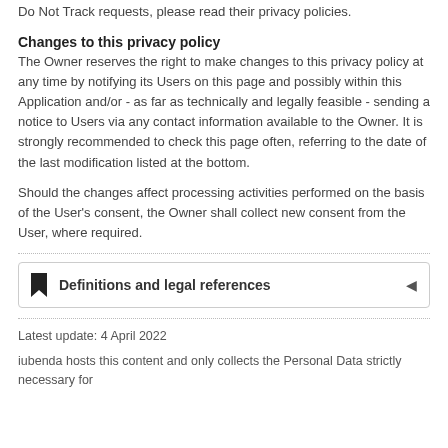Do Not Track requests, please read their privacy policies.
Changes to this privacy policy
The Owner reserves the right to make changes to this privacy policy at any time by notifying its Users on this page and possibly within this Application and/or - as far as technically and legally feasible - sending a notice to Users via any contact information available to the Owner. It is strongly recommended to check this page often, referring to the date of the last modification listed at the bottom.
Should the changes affect processing activities performed on the basis of the User's consent, the Owner shall collect new consent from the User, where required.
Definitions and legal references
Latest update: 4 April 2022
iubenda hosts this content and only collects the Personal Data strictly necessary for